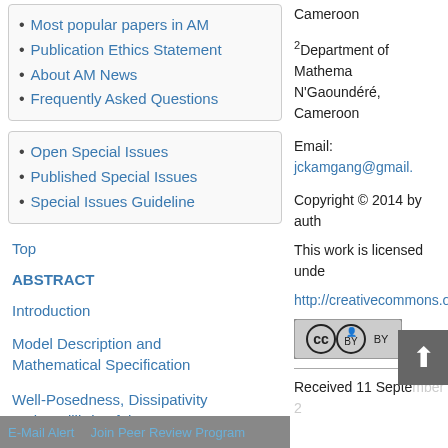Most popular papers in AM
Publication Ethics Statement
About AM News
Frequently Asked Questions
Open Special Issues
Published Special Issues
Special Issues Guideline
Top
ABSTRACT
Introduction
Model Description and Mathematical Specification
Well-Posedness, Dissipativity and Equilibria of the System
E-Mail Alert   Join Peer Review Program
Cameroon
2Department of Mathema... N'Gaoundéré, Cameroon
Email: jckamgang@gmail...
Copyright © 2014 by auth...
This work is licensed unde...
http://creativecommons.or...
[Figure (logo): Creative Commons BY license badge]
Received 11 Septe...mber 2...
ABSTRACT
We propose and anal... prophylactic measure...